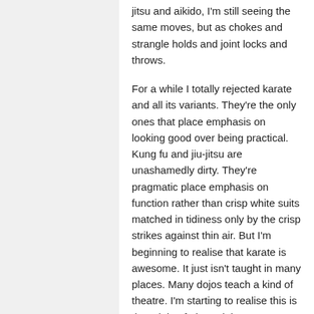jitsu and aikido, I'm still seeing the same moves, but as chokes and strangle holds and joint locks and throws.
For a while I totally rejected karate and all its variants. They're the only ones that place emphasis on looking good over being practical. Kung fu and jiu-jitsu are unashamedly dirty. They're pragmatic place emphasis on function rather than crisp white suits matched in tidiness only by the crisp strikes against thin air. But I'm beginning to realise that karate is awesome. It just isn't taught in many places. Many dojos teach a kind of theatre. I'm starting to realise this is the origin of 3k. And the brainwashing that kata is vital is probably a legacy of some ancient master realising what was happening to their beautiful system, and trying to emphasis the importance of kata in thd hope that some folks, as has indeed happened, stop and look closely at it and see hints of the original art. As I explore other styles, I see more and more relevance in kata. It seems every practical technique I'm shown in my new training, I have a light bulb